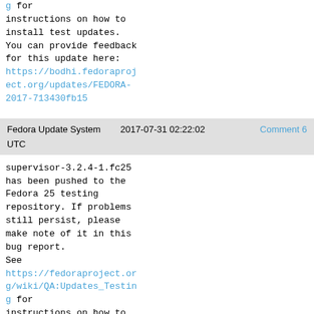g for instructions on how to install test updates. You can provide feedback for this update here: https://bodhi.fedoraproject.org/updates/FEDORA-2017-713430fb15
Fedora Update System   2017-07-31 02:22:02   Comment 6 UTC
supervisor-3.2.4-1.fc25 has been pushed to the Fedora 25 testing repository. If problems still persist, please make note of it in this bug report. See https://fedoraproject.org/wiki/QA:Updates_Testing for instructions on how to install test updates. You can provide feedback